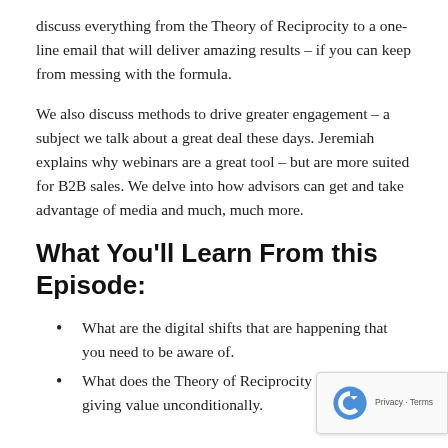discuss everything from the Theory of Reciprocity to a one-line email that will deliver amazing results – if you can keep from messing with the formula.
We also discuss methods to drive greater engagement – a subject we talk about a great deal these days. Jeremiah explains why webinars are a great tool – but are more suited for B2B sales. We delve into how advisors can get and take advantage of media and much, much more.
What You'll Learn From this Episode:
What are the digital shifts that are happening that you need to be aware of.
What does the Theory of Reciprocity mean and giving value unconditionally.